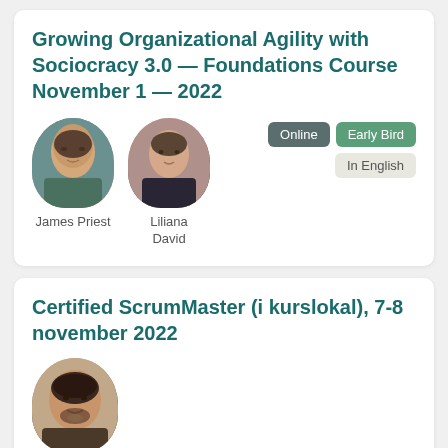Growing Organizational Agility with Sociocracy 3.0 — Foundations Course November 1 — 2022
James Priest
Liliana David
Online | Early Bird | In English
Certified ScrumMaster (i kurslokal), 7-8 november 2022